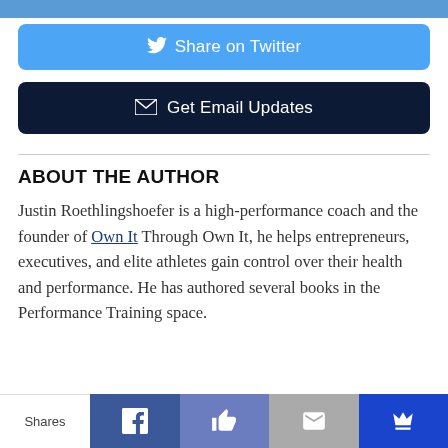[Figure (other): Blue top bar strip at top of page]
[Figure (other): Share on Twitter button - blue rounded rectangle with bird icon]
[Figure (other): Get Email Updates button - dark navy rounded rectangle with envelope icon]
ABOUT THE AUTHOR
Justin Roethlingshoefer is a high-performance coach and the founder of Own It Through Own It, he helps entrepreneurs, executives, and elite athletes gain control over their health and performance. He has authored several books in the Performance Training space.
[Figure (other): Bottom social sharing bar with Shares label, Facebook, Like/thumbs-up, email, and crown icons]